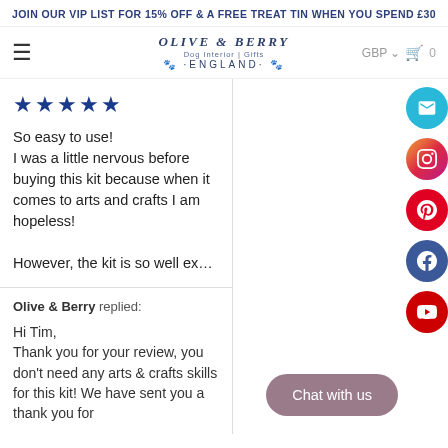JOIN OUR VIP LIST FOR 15% OFF & A FREE TREAT TIN WHEN YOU SPEND £30
[Figure (logo): Olive & Berry logo with paw prints, Dog Interior Gifts, England]
So easy to use!
I was a little nervous before buying this kit because when it comes to arts and crafts I am hopeless!

However, the kit is so well ex...
Olive & Berry replied:

Hi Tim,
Thank you for your review, you don't need any arts & crafts skills for this kit! We have sent you a thank you for